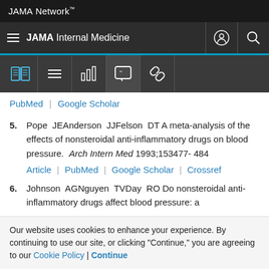JAMA Network
JAMA Internal Medicine
PubMed | Google Scholar
5. Pope JEAnderson JJFelson DT A meta-analysis of the effects of nonsteroidal anti-inflammatory drugs on blood pressure. Arch Intern Med 1993;153477- 484 Article | PubMed | Google Scholar | Crossref
6. Johnson AGNguyen TVDay RO Do nonsteroidal anti-inflammatory drugs affect blood pressure: a
Our website uses cookies to enhance your experience. By continuing to use our site, or clicking "Continue," you are agreeing to our Cookie Policy | Continue